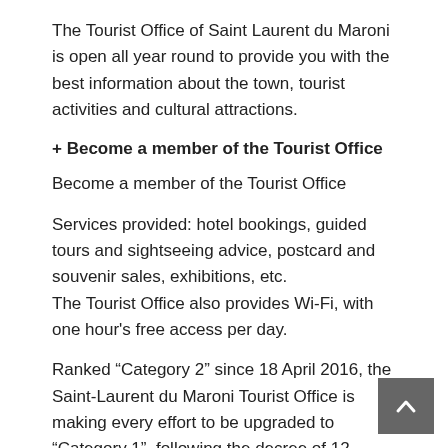The Tourist Office of Saint Laurent du Maroni is open all year round to provide you with the best information about the town, tourist activities and cultural attractions.
+ Become a member of the Tourist Office
Become a member of the Tourist Office
Services provided: hotel bookings, guided tours and sightseeing advice, postcard and souvenir sales, exhibitions, etc.
The Tourist Office also provides Wi-Fi, with one hour's free access per day.
Ranked “Category 2” since 18 April 2016, the Saint-Laurent du Maroni Tourist Office is making every effort to be upgraded to “Category 1”, following the decree of 12 November 2010 which modified the classification criteria.
+ Opening times
From September to June
Mondays 14:30 – 18:00
Tuesday to Saturday: 08:00 – 12:30 and 14:30 – 18:00